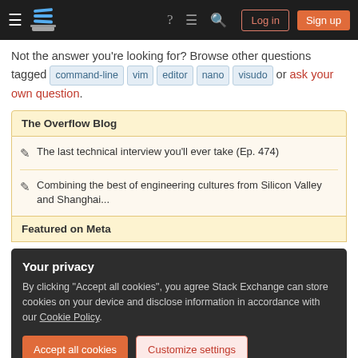Stack Exchange navigation bar with hamburger menu, logo, help, chat, search, Log in and Sign up buttons
Not the answer you're looking for? Browse other questions tagged command-line vim editor nano visudo or ask your own question.
The Overflow Blog
The last technical interview you'll ever take (Ep. 474)
Combining the best of engineering cultures from Silicon Valley and Shanghai...
Featured on Meta
Your privacy
By clicking "Accept all cookies", you agree Stack Exchange can store cookies on your device and disclose information in accordance with our Cookie Policy.
Accept all cookies   Customize settings